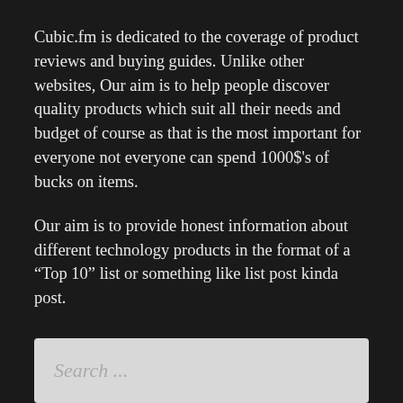Cubic.fm is dedicated to the coverage of product reviews and buying guides. Unlike other websites, Our aim is to help people discover quality products which suit all their needs and budget of course as that is the most important for everyone not everyone can spend 1000$'s of bucks on items.
Our aim is to provide honest information about different technology products in the format of a “Top 10” list or something like list post kinda post.
Search ...